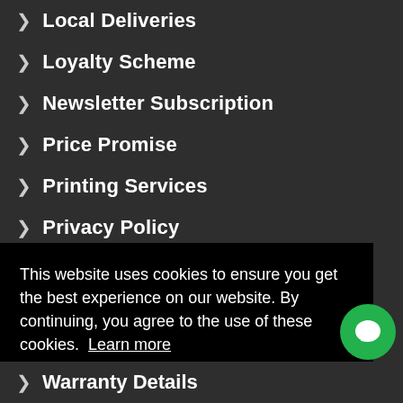> Local Deliveries
> Loyalty Scheme
> Newsletter Subscription
> Price Promise
> Printing Services
> Privacy Policy
> Refurbished Products Policy
This website uses cookies to ensure you get the best experience on our website. By continuing, you agree to the use of these cookies. Learn more
Got it!
> Warranty Details